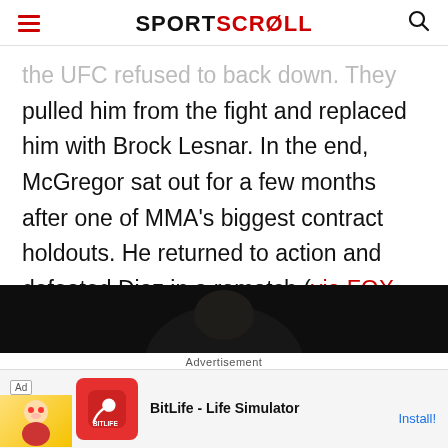SPORTSCROLL
…the UFC refused to back down. They pulled him from the fight and replaced him with Brock Lesnar. In the end, McGregor sat out for a few months after one of MMA's biggest contract holdouts. He returned to action and defeated Diaz in a rematch (via FOX Sports).
[Figure (photo): Dark background photo strip showing a person, partially visible]
Advertisement
[Figure (other): BitLife - Life Simulator advertisement banner with cartoon character and red app icon]